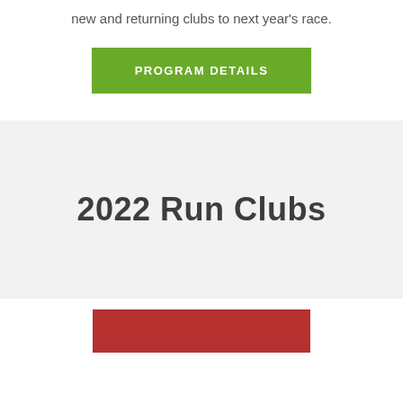new and returning clubs to next year's race.
PROGRAM DETAILS
2022 Run Clubs
[Figure (other): Red banner/button partially visible at bottom of page]